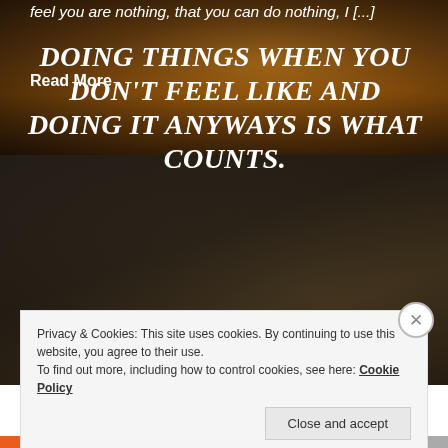[Figure (photo): Dark background photo with warm golden bokeh light effects, possibly a person with raised arms at a concert or event]
feel you are nothing, that you can do nothing, I [...]
Read More
[Figure (photo): Dark moody photo of a person, possibly in a gym or bar setting with indistinct background]
DOING THINGS WHEN YOU DON'T FEEL LIKE AND DOING IT ANYWAYS IS WHAT COUNTS.
Privacy & Cookies: This site uses cookies. By continuing to use this website, you agree to their use.
To find out more, including how to control cookies, see here: Cookie Policy
Close and accept